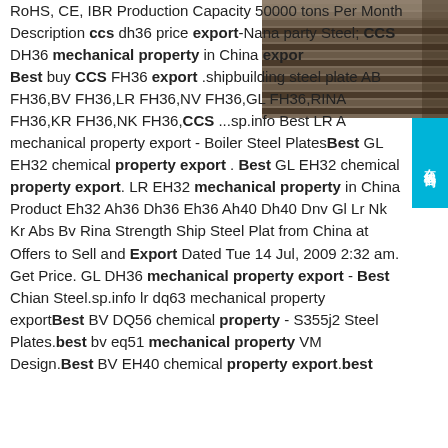[Figure (photo): Stack of steel plates/sheets photographed from above at an angle, showing layered metal sheets with dark surfaces]
RoHS, CE, IBR Production Capacity 50000 tons Per Month Description ccs dh36 price export-Nana party Steel; CCS DH36 mechanical property in China export Best buy CCS FH36 export .shipbuilding steel plate ABS FH36,BV FH36,LR FH36,NV FH36,GL FH36,RINA FH36,KR FH36,NK FH36,CCS ...sp.info Best LR A mechanical property export - Boiler Steel PlatesBest GL EH32 chemical property export . Best GL EH32 chemical property export. LR EH32 mechanical property in China Product Eh32 Ah36 Dh36 Eh36 Ah40 Dh40 Dnv Gl Lr Nk Kr Abs Bv Rina Strength Ship Steel Plat from China at Offers to Sell and Export Dated Tue 14 Jul, 2009 2:32 am. Get Price. GL DH36 mechanical property export - Best Chian Steel.sp.info lr dq63 mechanical property exportBest BV DQ56 chemical property - S355j2 Steel Plates.best bv eq51 mechanical property VM Design.Best BV EH40 chemical property export.best